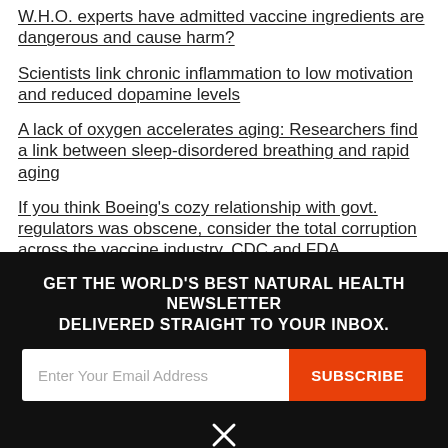W.H.O. experts have admitted vaccine ingredients are dangerous and cause harm?
Scientists link chronic inflammation to low motivation and reduced dopamine levels
A lack of oxygen accelerates aging: Researchers find a link between sleep-disordered breathing and rapid aging
If you think Boeing's cozy relationship with govt. regulators was obscene, consider the total corruption across the vaccine industry, CDC and FDA
Researchers claim sleep tracking apps cause unnecessary stress, leading to insomnia and anxiety
GET THE WORLD'S BEST NATURAL HEALTH NEWSLETTER DELIVERED STRAIGHT TO YOUR INBOX.
Enter Your Email Address
SUBSCRIBE